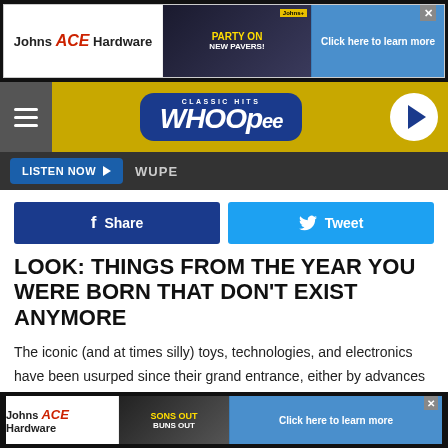[Figure (screenshot): Johns ACE Hardware advertisement banner at top of page with logo and 'Click here to learn more' button]
[Figure (logo): Classic Hits Whoopee radio station header with hamburger menu, yellow background, dark blue logo, and play button]
LISTEN NOW ▶  WUPE
[Figure (infographic): Facebook Share and Twitter Tweet social sharing buttons]
LOOK: THINGS FROM THE YEAR YOU WERE BORN THAT DON'T EXIST ANYMORE
The iconic (and at times silly) toys, technologies, and electronics have been usurped since their grand entrance, either by advances in technology or breakthroughs in common sense. See how many things on this list trigger
[Figure (screenshot): Johns ACE Hardware bottom advertisement banner]